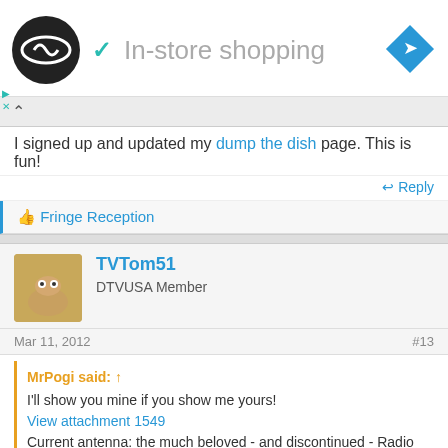[Figure (infographic): Ad banner with circular black logo with infinity-like symbol, teal checkmark, gray 'In-store shopping' text, and blue navigation diamond icon on right]
I signed up and updated my dump the dish page. This is fun!
↩ Reply
👍 Fringe Reception
[Figure (photo): Forum user avatar for TVTom51 - tan/skin-toned figure with googly eyes]
TVTom51
DTVUSA Member
Mar 11, 2012
#13
MrPogi said: ↑
I'll show you mine if you show me yours!
View attachment 1549
Current antenna: the much beloved - and discontinued - Radio Shack u75r.
It gets channels from translators to the North @ 30 miles, and off the